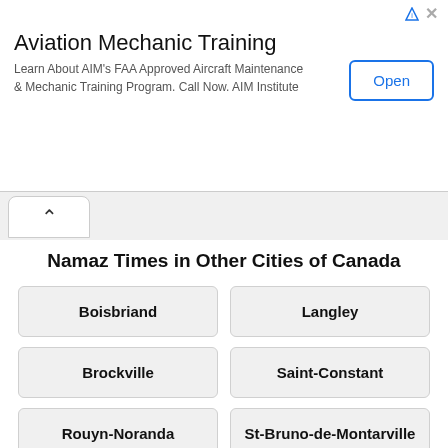[Figure (screenshot): Advertisement banner for Aviation Mechanic Training by AIM Institute with an Open button]
Namaz Times in Other Cities of Canada
Boisbriand
Langley
Brockville
Saint-Constant
Rouyn-Noranda
St-Bruno-de-Montarville
Mount Pearl
Airdrie